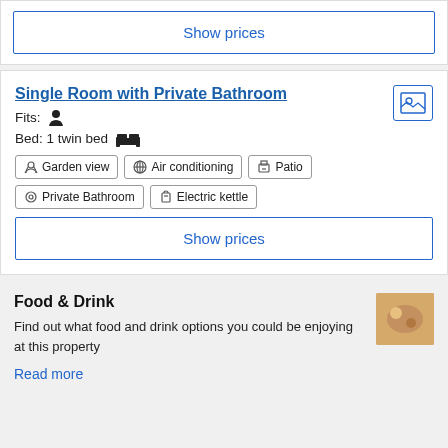Show prices
Single Room with Private Bathroom
Fits: 1 person
Bed: 1 twin bed
Garden view
Air conditioning
Patio
Private Bathroom
Electric kettle
Show prices
Food & Drink
Find out what food and drink options you could be enjoying at this property
Read more